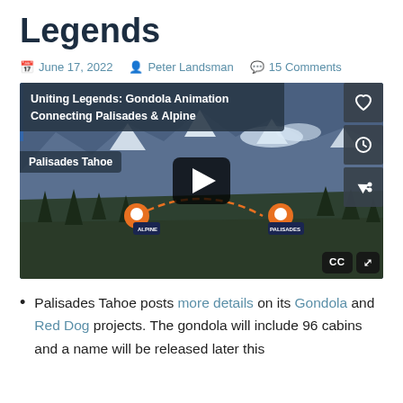Legends
June 17, 2022  Peter Landsman  15 Comments
[Figure (screenshot): Video thumbnail showing Gondola Animation connecting Palisades and Alpine ski resorts, with a dotted orange line path over a snowy mountain aerial view. Title overlay reads 'Uniting Legends: Gondola Animation Connecting Palisades & Alpine'. Tag reads 'Palisades Tahoe'. Play button visible in center. CC and fullscreen controls in bottom right. Heart, clock, and share icons on right side.]
Palisades Tahoe posts more details on its Gondola and Red Dog projects. The gondola will include 96 cabins and a name will be released later this